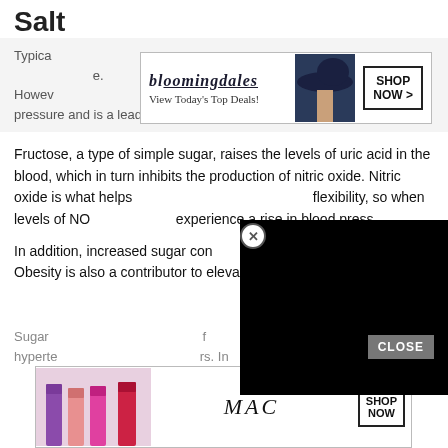Salt
Typically... However... blood pressure and is a leading cause of it.
[Figure (screenshot): Bloomingdale's advertisement banner: logo text 'bloomingdales', tagline 'View Today's Top Deals!', model photo wearing hat, 'SHOP NOW >' button]
Fructose, a type of simple sugar, raises the levels of uric acid in the blood, which in turn inhibits the production of nitric oxide. Nitric oxide is what helps [blood vessels maintain] flexibility, so when levels of NO [drop, people] experience a rise in blood press[ure].
[Figure (screenshot): Black video overlay panel covering right portion of page with close X button]
In addition, increased sugar con[sumption leads to weight] gain. Obesity is also a contributor to elevated blood pressure.
[Figure (screenshot): MAC Cosmetics advertisement banner with lipstick products, MAC logo, 'SHOP NOW' button, red lipstick on right]
Sugar [...] of hyperte[nsion ...] rs. In